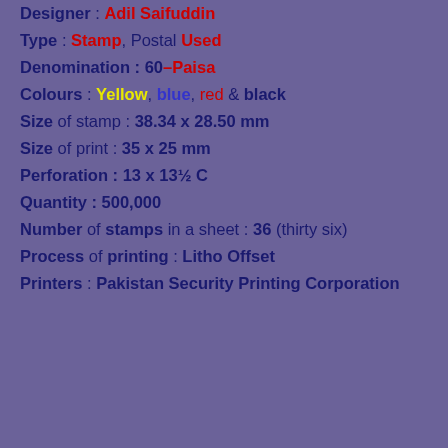Designer : Adil Saifuddin
Type : Stamp, Postal Used
Denomination : 60–Paisa
Colours : Yellow, blue, red & black
Size of stamp : 38.34 x 28.50 mm
Size of print : 35 x 25 mm
Perforation : 13 x 13½ C
Quantity : 500,000
Number of stamps in a sheet : 36 (thirty six)
Process of printing : Litho Offset
Printers : Pakistan Security Printing Corporation